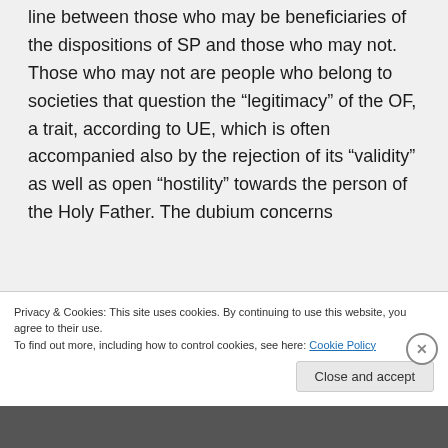line between those who may be beneficiaries of the dispositions of SP and those who may not. Those who may not are people who belong to societies that question the “legitimacy” of the OF, a trait, according to UE, which is often accompanied also by the rejection of its “validity” as well as open “hostility” towards the person of the Holy Father. The dubium concerns
Privacy & Cookies: This site uses cookies. By continuing to use this website, you agree to their use.
To find out more, including how to control cookies, see here: Cookie Policy